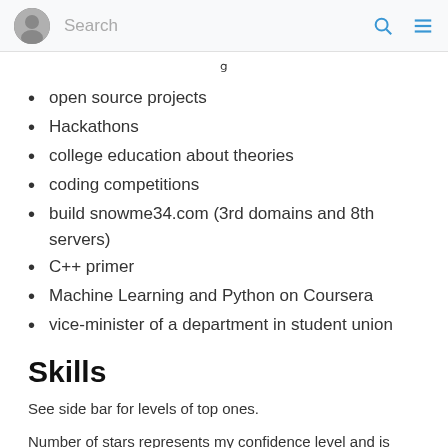Search
open source projects
Hackathons
college education about theories
coding competitions
build snowme34.com (3rd domains and 8th servers)
C++ primer
Machine Learning and Python on Coursera
vice-minister of a department in student union
Skills
See side bar for levels of top ones.
Number of stars represents my confidence level and is adjusted based on my understanding about illusory superiority and Dunning–Kruger effect.
Excluding things like git or soldering (too basic).